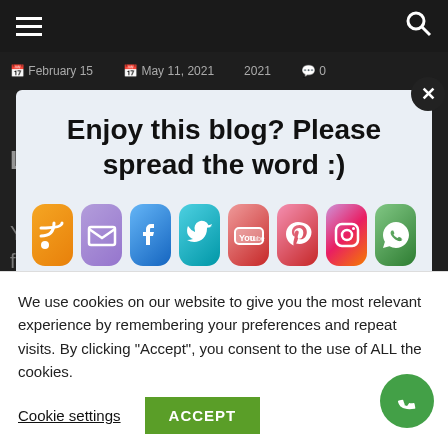Navigation bar with hamburger menu and search icon
February 15   May 11, 2021   2021   0
[Figure (screenshot): Modal popup with social sharing icons (RSS, email, Facebook, Twitter, YouTube, Pinterest, Instagram, WhatsApp) over a blurred blog page background]
Enjoy this blog? Please spread the word :)
We use cookies on our website to give you the most relevant experience by remembering your preferences and repeat visits. By clicking “Accept”, you consent to the use of ALL the cookies.
Cookie settings
ACCEPT